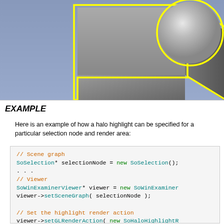[Figure (illustration): 3D rendered scene showing a gray cube and a gray sphere on a blue-gray gradient background. Both objects are outlined with a bright yellow halo highlight around their edges.]
EXAMPLE
Here is an example of how a halo highlight can be specified for a particular selection node and render area:
// Scene graph
SoSelection* selectionNode = new SoSelection();
...
// Viewer
SoWinExaminerViewer* viewer = new SoWinExaminer
viewer->setSceneGraph( selectionNode );

// Set the highlight render action
viewer->setGLRenderAction( new SoHaloHighlightR

// Request automatic redraw when selection chan
viewer->redrawOnSelectionChange( selectionNode